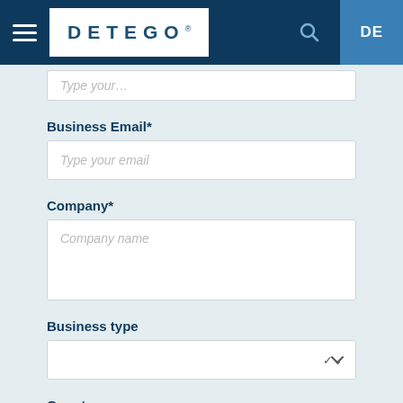DETEGO — Navigation bar with hamburger menu, logo, search icon, DE language toggle
Type your…
Business Email*
Type your email
Company*
Company name
Business type
Country